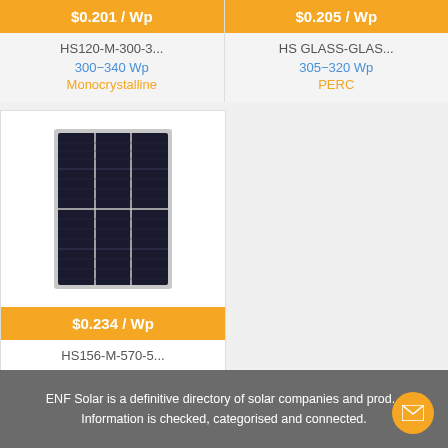$0.201 / Wp
$0.205 / Wp
HS120-M-300-3...
300–340 Wp
Monocrystalline
HS GLASS-GLAS...
305–320 Wp
PERC
[Figure (photo): Solar panel product image showing a dark monocrystalline panel with silver frame and grid lines]
$0.234 / Wp
HS156-M-570-5...
570–590 Wp
Monocrystalline
ENF Solar is a definitive directory of solar companies and prod... Information is checked, categorised and connected.